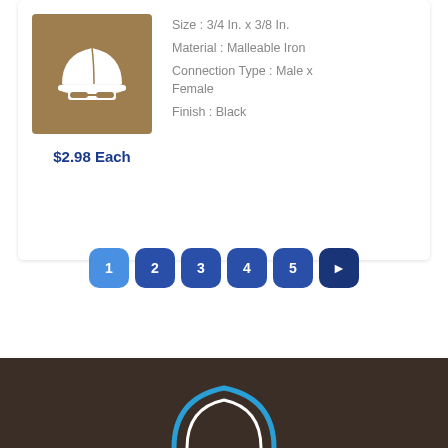[Figure (illustration): Hard hat / construction worker logo icon in white on a brown background square]
$2.98 Each
Size : 3/4 In. x 3/8 In.
Material : Malleable Iron
Connection Type : Male x Female
Finish : Black
1
2
3
4
5
▶
[Figure (logo): Partial logo visible in dark brown footer — circular blue and white arc shape]